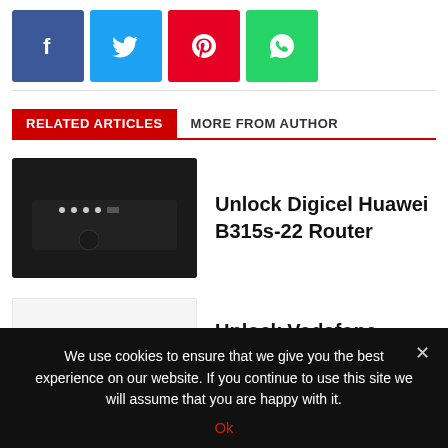[Figure (other): Social share buttons: Facebook (blue), Twitter (cyan), Pinterest (red), WhatsApp (green)]
RELATED ARTICLES | MORE FROM AUTHOR
[Figure (photo): Black Huawei B315s-22 router]
Unlock Digicel Huawei B315s-22 Router
[Figure (photo): White Huawei B315s-22 router]
Unlock Vodafone Germany B315s-22 Huawei Router
We use cookies to ensure that we give you the best experience on our website. If you continue to use this site we will assume that you are happy with it.
Ok